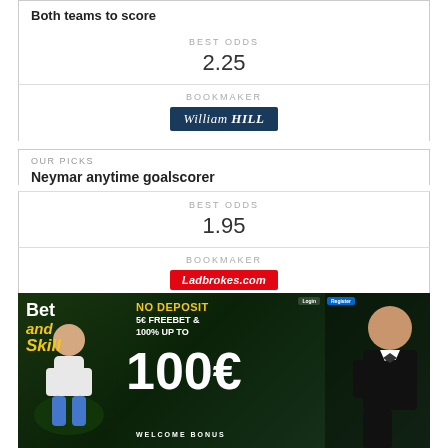Both teams to score
BEST ODDS
2.25
BOOKMAKER
William HILL
OUR PICKS
Neymar anytime goalscorer
BEST ODDS
1.95
BOOKMAKER
Ladbrokes.com
[Figure (photo): Bet and Skill promotional banner: NO DEPOSIT 5€ FREEBET & 100% UP TO 100€ WELCOME BONUS. Shows a footballer and a man in a tuxedo.]